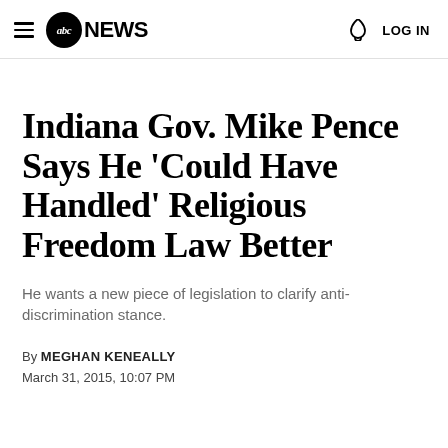abc NEWS  LOG IN
Indiana Gov. Mike Pence Says He 'Could Have Handled' Religious Freedom Law Better
He wants a new piece of legislation to clarify anti-discrimination stance.
By MEGHAN KENEALLY
March 31, 2015, 10:07 PM